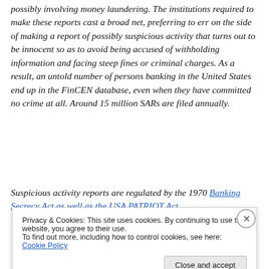possibly involving money laundering. The institutions required to make these reports cast a broad net, preferring to err on the side of making a report of possibly suspicious activity that turns out to be innocent so as to avoid being accused of withholding information and facing steep fines or criminal charges. As a result, an untold number of persons banking in the United States end up in the FinCEN database, even when they have committed no crime at all. Around 15 million SARs are filed annually.
Suspicious activity reports are regulated by the 1970 Banking Secrecy Act as well as the USA PATRIOT Act
Privacy & Cookies: This site uses cookies. By continuing to use this website, you agree to their use.
To find out more, including how to control cookies, see here: Cookie Policy